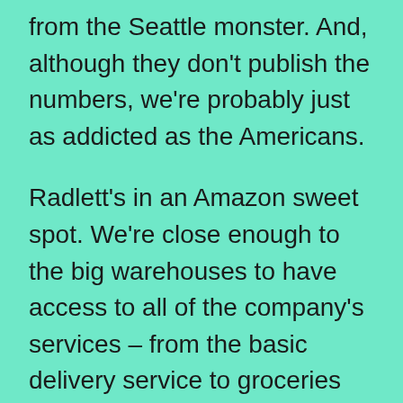from the Seattle monster. And, although they don't publish the numbers, we're probably just as addicted as the Americans.

Radlett's in an Amazon sweet spot. We're close enough to the big warehouses to have access to all of the company's services – from the basic delivery service to groceries (including Whole Foods, the upmarket food retailer bought by Amazon earlier this year) and the Amazon Prime Now app, so you can order practically anything for delivery within an hour. Step outside your front door during daylight and there's a reasonable chance you'll